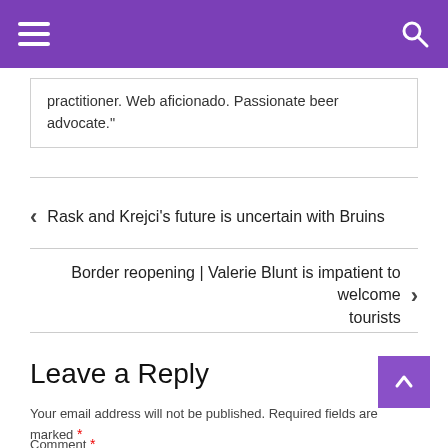☰  [menu icon]  [search icon]
practitioner. Web aficionado. Passionate beer advocate."
❮  Rask and Krejci's future is uncertain with Bruins
Border reopening | Valerie Blunt is impatient to welcome tourists  ❯
Leave a Reply
Your email address will not be published. Required fields are marked *
Comment *